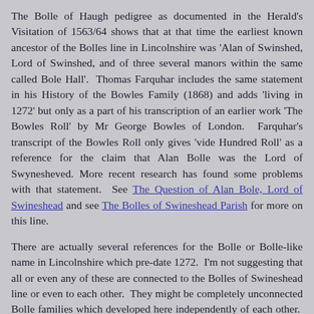The Bolle of Haugh pedigree as documented in the Herald's Visitation of 1563/64 shows that at that time the earliest known ancestor of the Bolles line in Lincolnshire was 'Alan of Swinshed, Lord of Swinshed, and of three several manors within the same called Bole Hall'.  Thomas Farquhar includes the same statement in his History of the Bowles Family (1868) and adds 'living in 1272' but only as a part of his transcription of an earlier work 'The Bowles Roll' by Mr George Bowles of London.  Farquhar's transcript of the Bowles Roll only gives 'vide Hundred Roll' as a reference for the claim that Alan Bolle was the Lord of Swynesheved. More recent research has found some problems with that statement.  See The Question of Alan Bole, Lord of Swineshead and see The Bolles of Swineshead Parish for more on this line.
There are actually several references for the Bolle or Bolle-like name in Lincolnshire which pre-date 1272.  I'm not suggesting that all or even any of these are connected to the Bolles of Swineshead line or even to each other.  They might be completely unconnected Bolle families which developed here independently of each other.  These references are included here merely as a record of the early occurrences of the Bolle name in Lincolnshire with both Norman and Anglo-Saxon origins and because, although it may never be possible to prove it, one of these could well have been an ancestor of the Swineshead Bolles line.